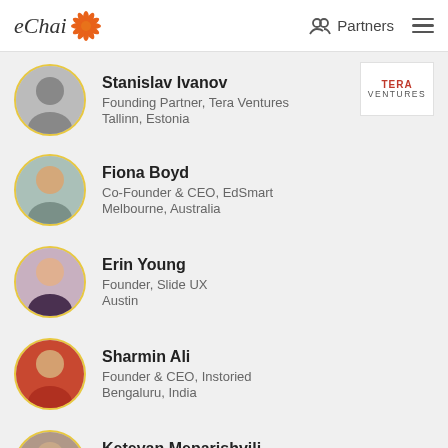eChai | Partners
Stanislav Ivanov
Founding Partner, Tera Ventures
Tallinn, Estonia
Fiona Boyd
Co-Founder & CEO, EdSmart
Melbourne, Australia
Erin Young
Founder, Slide UX
Austin
Sharmin Ali
Founder & CEO, Instoried
Bengaluru, India
Ketevan Meparishvili
Regional Manager, Asia, TWINO
Georgia
Evgeniya Kazina
Head of Product, Platinumlist
Moscow, Russia